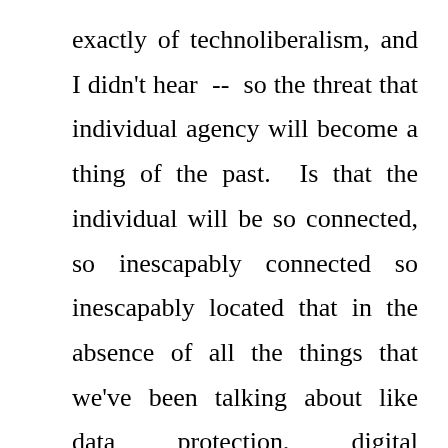exactly of technoliberalism, and I didn't hear -- so the threat that individual agency will become a thing of the past.  Is that the individual will be so connected, so inescapably connected so inescapably located that in the absence of all the things that we've been talking about like data protection, digital governance, et cetera, that we become part of the totalitarian system and those who have -- I'm sorry to be dystopian, and I haven't read Sci-Fies on this but I'm sure there's Sci-Fi on this the state will have